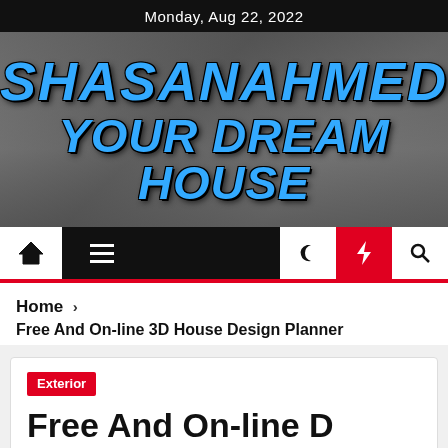Monday, Aug 22, 2022
[Figure (illustration): Hero banner with interior room background and blog title 'SHASANAHMED YOUR DREAM HOUSE' in large blue distressed text on dark overlay]
[Figure (screenshot): Navigation bar with home icon, hamburger menu, dark night mode icon, red lightning bolt icon, and search icon]
Home > Free And On-line 3D House Design Planner
Exterior
Free And On-line D